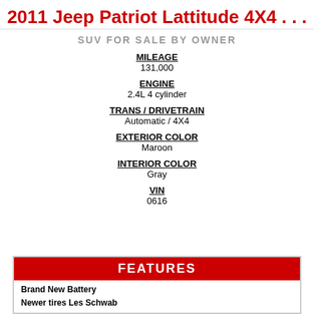2011 Jeep Patriot Lattitude 4X4 . . .
SUV FOR SALE BY OWNER
MILEAGE
131,000
ENGINE
2.4L 4 cylinder
TRANS / DRIVETRAIN
Automatic / 4X4
EXTERIOR COLOR
Maroon
INTERIOR COLOR
Gray
VIN
0616
FEATURES
Brand New Battery
Newer tires Les Schwab